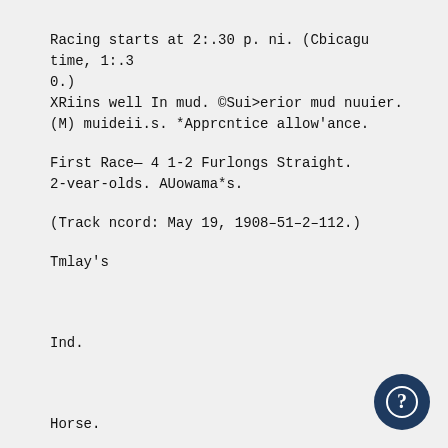Racing starts at 2:.30 p. ni. (Cbicagu time, 1:.30.)
XRiins well In mud. ©Sui>erior mud nuuier.
(M) muideii.s. *Apprcntice allow'ance.
First Race— 4 1-2 Furlongs Straight.
2-vear-olds. AUowama*s.
(Track ncord: May 19, 1908–51–2–112.)
Tmlay's
Ind.
Horse.
Wt.